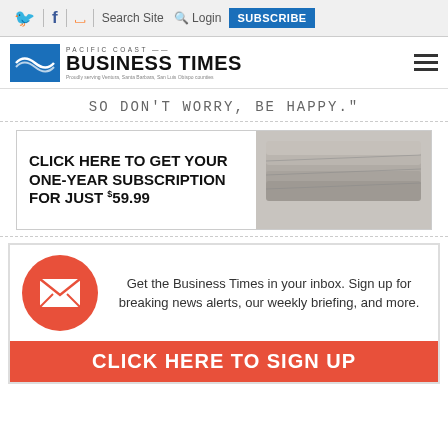Twitter | Facebook | RSS | Search Site | Login | SUBSCRIBE
[Figure (logo): Pacific Coast Business Times logo with emblem and tagline]
SO DON'T WORRY, BE HAPPY."
[Figure (infographic): Advertisement banner: CLICK HERE TO GET YOUR ONE-YEAR SUBSCRIPTION FOR JUST $59.99 with newspaper image]
[Figure (infographic): Email signup box: Get the Business Times in your inbox. Sign up for breaking news alerts, our weekly briefing, and more. CLICK HERE TO SIGN UP]